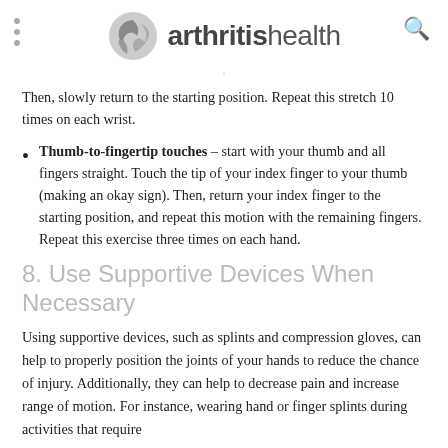arthritishealth
Then, slowly return to the starting position. Repeat this stretch 10 times on each wrist.
Thumb-to-fingertip touches – start with your thumb and all fingers straight. Touch the tip of your index finger to your thumb (making an okay sign). Then, return your index finger to the starting position, and repeat this motion with the remaining fingers. Repeat this exercise three times on each hand.
8. Use Supportive Devices When Necessary
Using supportive devices, such as splints and compression gloves, can help to properly position the joints of your hands to reduce the chance of injury. Additionally, they can help to decrease pain and increase range of motion. For instance, wearing hand or finger splints during activities that require